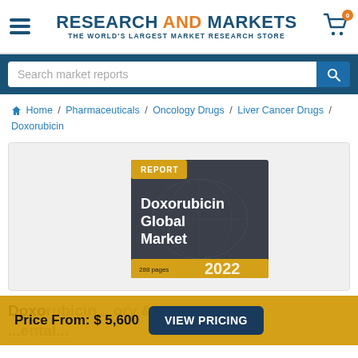RESEARCH AND MARKETS - THE WORLD'S LARGEST MARKET RESEARCH STORE
Search market reports
Home / Pharmaceuticals / Oncology Drugs / Liver Cancer Drugs / Doxorubicin
[Figure (illustration): Book cover image for 'Doxorubicin Global Market' report, 288 pages, 2022, with a dark grey cover and yellow/gold accent band at the bottom labeled REPORT]
Price From: $ 5,600   VIEW PRICING